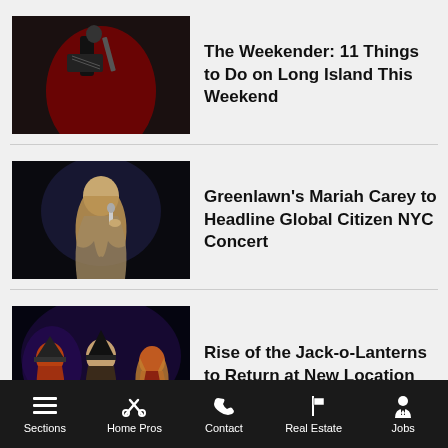[Figure (photo): Musician playing guitar on stage with red lighting backdrop]
The Weekender: 11 Things to Do on Long Island This Weekend
[Figure (photo): Female singer with long blonde hair performing on stage with microphone]
Greenlawn's Mariah Carey to Headline Global Citizen NYC Concert
[Figure (photo): Three costumed characters under purple/blue lighting, Halloween theme]
Rise of the Jack-o-Lanterns to Return at New Location
Sections   Home Pros   Contact   Real Estate   Jobs